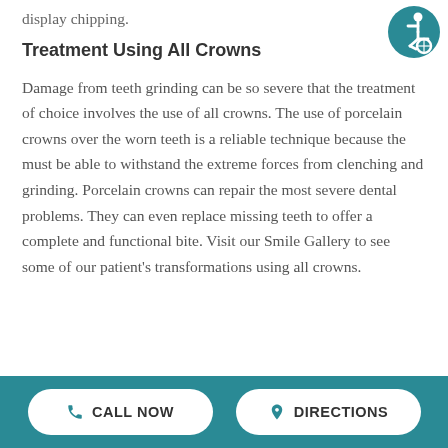display chipping.
[Figure (logo): Teal circular accessibility icon showing a person in a wheelchair]
Treatment Using All Crowns
Damage from teeth grinding can be so severe that the treatment of choice involves the use of all crowns. The use of porcelain crowns over the worn teeth is a reliable technique because the must be able to withstand the extreme forces from clenching and grinding. Porcelain crowns can repair the most severe dental problems. They can even replace missing teeth to offer a complete and functional bite. Visit our Smile Gallery to see some of our patient's transformations using all crowns.
CALL NOW   DIRECTIONS